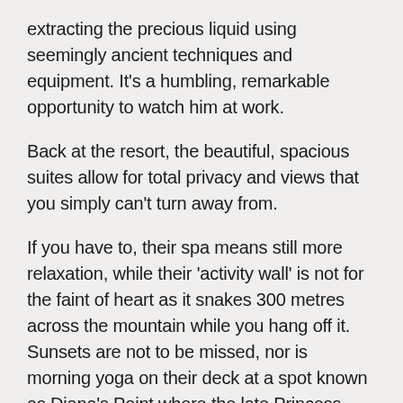extracting the precious liquid using seemingly ancient techniques and equipment. It's a humbling, remarkable opportunity to watch him at work.
Back at the resort, the beautiful, spacious suites allow for total privacy and views that you simply can't turn away from.
If you have to, their spa means still more relaxation, while their 'activity wall' is not for the faint of heart as it snakes 300 metres across the mountain while you hang off it. Sunsets are not to be missed, nor is morning yoga on their deck at a spot known as Diana's Point where the late Princess famously looked out and stargazed on a trip in 1986.
Amidst very good culinary options, their 'Dining by Design' initiative stands out as a way to customise private group dinners in the resort's jaw-dropping Royal Mountain Villa